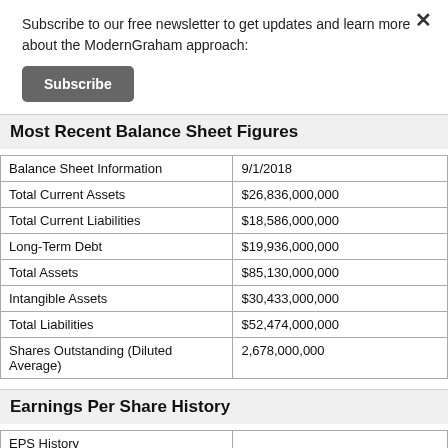Subscribe to our free newsletter to get updates and learn more about the ModernGraham approach:
Subscribe
Most Recent Balance Sheet Figures
| Balance Sheet Information | 9/1/2018 |
| --- | --- |
| Total Current Assets | $26,836,000,000 |
| Total Current Liabilities | $18,586,000,000 |
| Long-Term Debt | $19,936,000,000 |
| Total Assets | $85,130,000,000 |
| Intangible Assets | $30,433,000,000 |
| Total Liabilities | $52,474,000,000 |
| Shares Outstanding (Diluted Average) | 2,678,000,000 |
Earnings Per Share History
| EPS History |  |
| --- | --- |
| Next Fiscal Year Estimate | $2.61 |